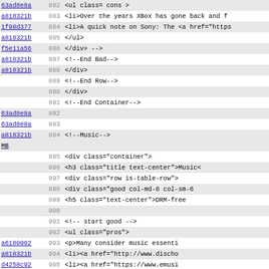| commit | line | code |
| --- | --- | --- |
| 63ad8e8a | 882 | <ul class= cons > |
| a818321b | 883 | <li>Over the years XBox has gone back and f |
| 1f98d377 | 884 | <li>A quick note on Sony: The <a href="https |
| a818321b | 885 |             </ul> |
| f5e11a56 | 886 |             </div> --> |
| a818321b | 887 |             <!--End Bad--> |
| a818321b MB | 888 |         </div> |
|  | 889 |         <!--End Row--> |
|  | 890 |     </div> |
|  | 891 |     <!--End Container--> |
| 63ad8e8a | 892 |  |
| 63ad8e8a | 893 |  |
| a818321b MB | 894 |         <!--Music--> |
|  | 895 |         <div class="container"> |
|  | 896 |             <h3 class="title text-center">Music< |
|  | 897 |             <div class="row is-table-row"> |
|  | 898 |                 <div class="good col-md-6 col-sm-6 |
|  | 899 |                     <h5 class="text-center">DRM-free |
|  | 900 |  |
|  | 901 |                     <!-- start good --> |
|  | 902 |                     <ul class="pros"> |
| a6180002 | 903 |                         <p>Many consider music essenti |
| a818321b | 904 |                         <li><a href="http://www.discho |
| d4258c92 | 905 |                         <li><a href="https://www.emusi |
| 8f6e7f2c | 906 |                         <li><a href="https://folkways. |
| a818321b MB | 907 |                     </ul> |
|  | 908 |  |
| 63ad8e8a | 909 |                 </div> |
| a818321b | 910 |                 <!--End Good--> |
| 63ad8e8a | 911 |  |
| a818321b | 912 |                 <!--start bad--> |
| a084c810 | 913 |                 <div class="good col-md-6 col-sm-6 |
| a818321b | 914 |                     <ul class="cons"> |